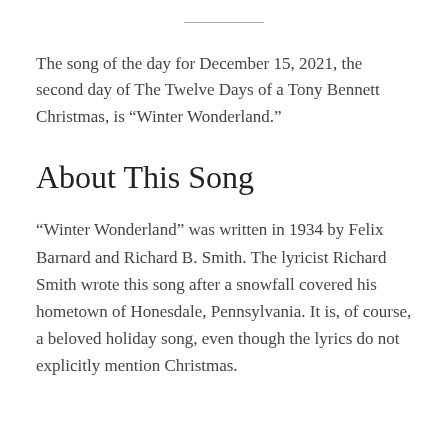The song of the day for December 15, 2021, the second day of The Twelve Days of a Tony Bennett Christmas, is “Winter Wonderland.”
About This Song
“Winter Wonderland” was written in 1934 by Felix Barnard and Richard B. Smith. The lyricist Richard Smith wrote this song after a snowfall covered his hometown of Honesdale, Pennsylvania. It is, of course, a beloved holiday song, even though the lyrics do not explicitly mention Christmas.